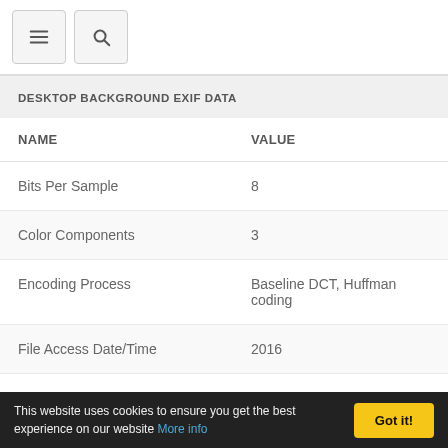Navigation bar with menu and search icons
DESKTOP BACKGROUND EXIF DATA
| NAME | VALUE |
| --- | --- |
| Bits Per Sample | 8 |
| Color Components | 3 |
| Encoding Process | Baseline DCT, Huffman coding |
| File Access Date/Time | 2016 |
| File Creation Date/Time | 2016 |
| File Modification | 2016 |
This website uses cookies to ensure you get the best experience on our website More info  Got it!